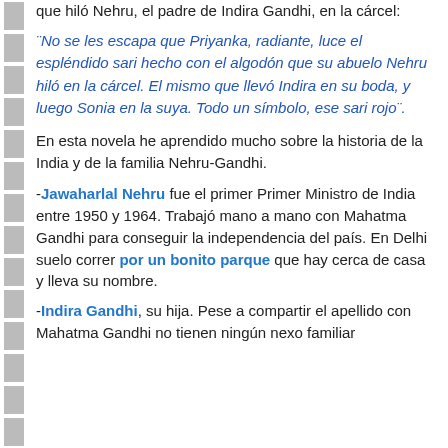que hiló Nehru, el padre de Indira Gandhi, en la cárcel:
¨No se les escapa que Priyanka, radiante, luce el espléndido sari hecho con el algodón que su abuelo Nehru hiló en la cárcel. El mismo que llevó Indira en su boda, y luego Sonia en la suya. Todo un símbolo, ese sari rojo¨.
En esta novela he aprendido mucho sobre la historia de la India y de la familia Nehru-Gandhi.
-Jawaharlal Nehru fue el primer Primer Ministro de India entre 1950 y 1964. Trabajó mano a mano con Mahatma Gandhi para conseguir la independencia del país. En Delhi suelo correr por un bonito parque que hay cerca de casa y lleva su nombre.
-Indira Gandhi, su hija. Pese a compartir el apellido con Mahatma Gandhi no tienen ningún nexo familiar